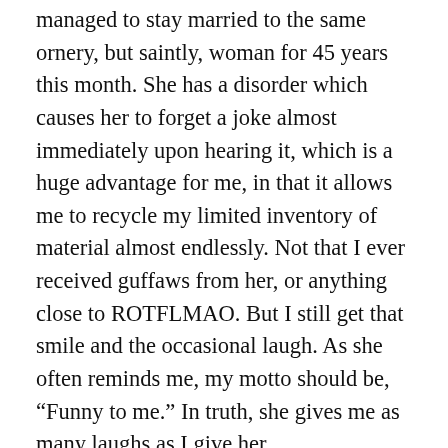managed to stay married to the same ornery, but saintly, woman for 45 years this month. She has a disorder which causes her to forget a joke almost immediately upon hearing it, which is a huge advantage for me, in that it allows me to recycle my limited inventory of material almost endlessly. Not that I ever received guffaws from her, or anything close to ROTFLMAO. But I still get that smile and the occasional laugh. As she often reminds me, my motto should be, “Funny to me.” In truth, she gives me as many laughs as I give her.
What I did see on Saturday was MotoGP Q2. I know the Yamahas had been having a good weekend again and that Pecco Bagnaia was riding the wheels off his 2019 Desmo. I knew that he and all four Yams passed directly to Q2, along with Takaa Nakagami, HRC’s Great Japanese Hope, Pol Espargaro and Brad Binder on their suddenly